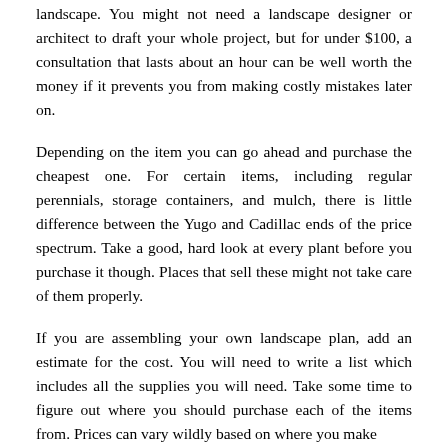landscape. You might not need a landscape designer or architect to draft your whole project, but for under $100, a consultation that lasts about an hour can be well worth the money if it prevents you from making costly mistakes later on.
Depending on the item you can go ahead and purchase the cheapest one. For certain items, including regular perennials, storage containers, and mulch, there is little difference between the Yugo and Cadillac ends of the price spectrum. Take a good, hard look at every plant before you purchase it though. Places that sell these might not take care of them properly.
If you are assembling your own landscape plan, add an estimate for the cost. You will need to write a list which includes all the supplies you will need. Take some time to figure out where you should purchase each of the items from. Prices can vary wildly based on where you make